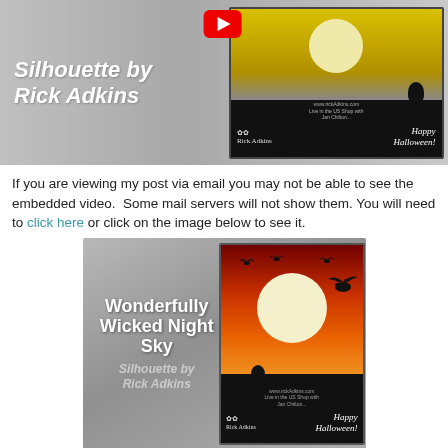[Figure (screenshot): Top banner image showing a Halloween card silhouette tutorial thumbnail by Rick Adkins with a YouTube play button, showing a cat silhouette on grass against a yellow moon, with 'Happy Halloween!' text on the card]
If you are viewing my post via email you may not be able to see the embedded video.  Some mail servers will not show them. You will need to click here or click on the image below to see it.
[Figure (screenshot): Thumbnail image for 'Wonderfully Wicked Night Sky Silhouette by Rick Adkins' showing a Halloween card with bats, a dragon, and a cat silhouette against an orange-red moon sky background, with 'Happy Halloween!' text]